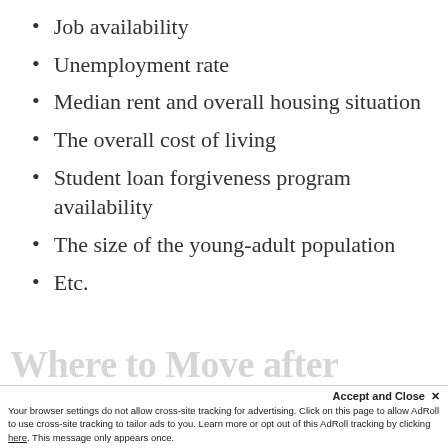Job availability
Unemployment rate
Median rent and overall housing situation
The overall cost of living
Student loan forgiveness program availability
The size of the young-adult population
Etc.
Where to Move after
Accept and Close ✕
Your browser settings do not allow cross-site tracking for advertising. Click on this page to allow AdRoll to use cross-site tracking to tailor ads to you. Learn more or opt out of this AdRoll tracking by clicking here. This message only appears once.